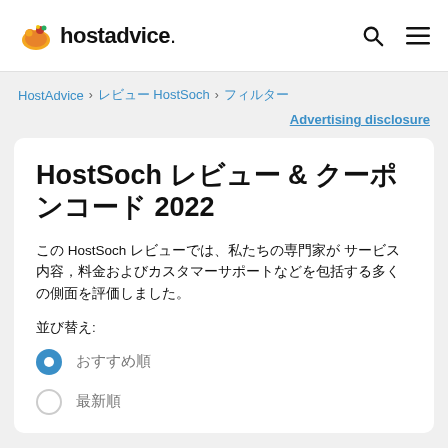hostadvice. [logo] [search icon] [menu icon]
HostAdvice > 레뷰HostSoch > 필터
Advertising disclosure
HostSoch 리뷰 & 쿠폰코드 2022
이 HostSoch 리뷰에서는 우리의 전문가들이 서비스 약관, 가격, 고객 지원 등 다양한 측면을 평가했습니다.
정렬:
추천순
최신순